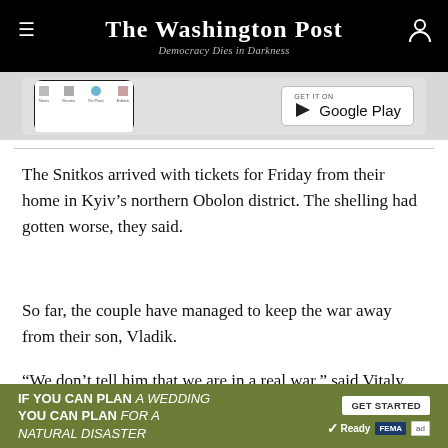The Washington Post — Democracy Dies in Darkness
[Figure (screenshot): App advertisement banner showing a smartphone and Google Play download button]
The Snitkos arrived with tickets for Friday from their home in Kyiv's northern Obolon district. The shelling had gotten worse, they said.
So far, the couple have managed to keep the war away from their son, Vladik.
“We don’t tell him that we are in a real war,” said Vitaly Snitko. “We tell him it’s a game, that we are playing hide and seek. It’s like an adventure.”
[Figure (infographic): Green advertisement banner: IF YOU CAN PLAN A WEDDING YOU CAN PLAN FOR A NATURAL DISASTER — GET STARTED button, Ready, FEMA, ad logos]